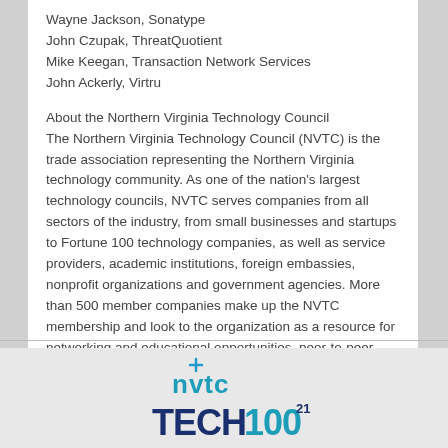Wayne Jackson, Sonatype
John Czupak, ThreatQuotient
Mike Keegan, Transaction Network Services
John Ackerly, Virtru
About the Northern Virginia Technology Council
The Northern Virginia Technology Council (NVTC) is the trade association representing the Northern Virginia technology community. As one of the nation's largest technology councils, NVTC serves companies from all sectors of the industry, from small businesses and startups to Fortune 100 technology companies, as well as service providers, academic institutions, foreign embassies, nonprofit organizations and government agencies. More than 500 member companies make up the NVTC membership and look to the organization as a resource for networking and educational opportunities, peer-to-peer communities, policy advocacy, industry promotion, fostering of strategic relationships, and branding of the region as a major global technology center. Learn more at http://www.nvtc.org.
[Figure (logo): NVTC Tech100 logo — 'nvtc' in teal lowercase with a cross/plus symbol above, and 'TECH100' below in large dark blue and teal letters]